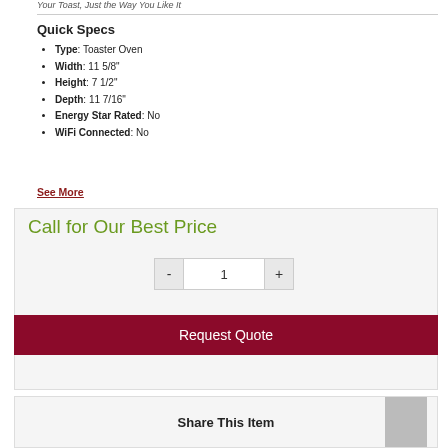Your Toast, Just the Way You Like It
Quick Specs
Type: Toaster Oven
Width: 11 5/8"
Height: 7 1/2"
Depth: 11 7/16"
Energy Star Rated: No
WiFi Connected: No
See More
Call for Our Best Price
- 1 +
Request Quote
Share This Item